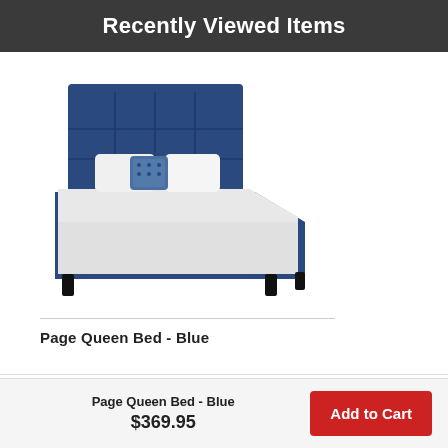Recently Viewed Items
[Figure (photo): Photo of a Page Queen Bed in Blue upholstery with tufted headboard and white bedding]
Page Queen Bed - Blue
Sign up to receive our emails
Page Queen Bed - Blue
$369.95
Add to Cart